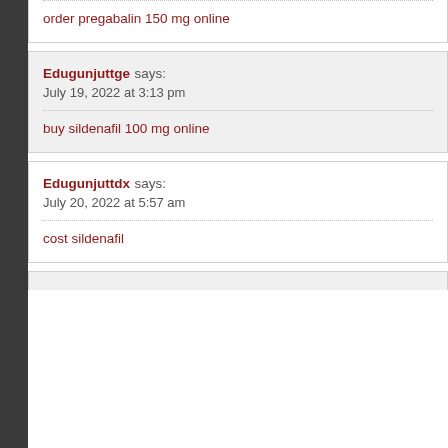Odugunjuttju says:
July 12, 2022 at 8:58 am
order pregabalin 150 mg online
Edugunjuttge says:
July 19, 2022 at 3:13 pm
buy sildenafil 100 mg online
Edugunjuttdx says:
July 20, 2022 at 5:57 am
cost sildenafil